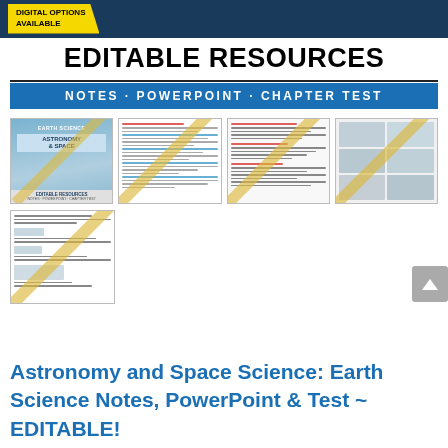[Figure (screenshot): Top dark blue banner with 'DIGITAL OPTIONS AVAILABLE' yellow badge and partial product image]
EDITABLE RESOURCES
NOTES · POWERPOINT · CHAPTER TEST
[Figure (screenshot): Grid of 5 product thumbnail previews showing astronomy and space science editable resource pages with diagonal yellow watermarks]
Astronomy and Space Science: Earth Science Notes, PowerPoint & Test ~ EDITABLE!